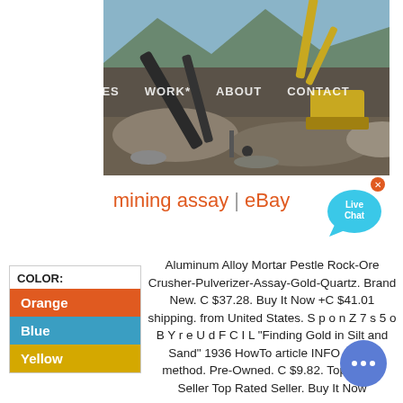[Figure (photo): Mining site photo showing heavy machinery (excavator arm and equipment) working on rocky terrain with mountains in background. Navigation bar overlay reads: SERVICES  WORK*  ABOUT  CONTACT]
SERVICES   WORK*   ABOUT   CONTACT
mining assay | eBay
[Figure (illustration): Live Chat speech bubble icon in cyan/blue with white text 'Live Chat' and a small x close button]
| COLOR: |
| --- |
| Orange |
| Blue |
| Yellow |
Aluminum Alloy Mortar Pestle Rock-Ore Crusher-Pulverizer-Assay-Gold-Quartz. Brand New. C $37.28. Buy It Now +C $41.01 shipping. from United States. S p o n Z 7 s 5 o B Y r e U d F C I L "Finding Gold in Silt and Sand" 1936 HowTo article INFO Assay method. Pre-Owned. C $9.82. Top Rated Seller Top Rated Seller. Buy It Now
[Figure (illustration): Blue circular chat button with three dots (ellipsis) in white]